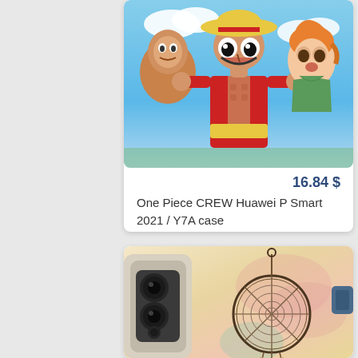[Figure (photo): Phone case with One Piece anime characters - Luffy in red outfit with straw hat in center, Nami with orange hair on right, other crew members visible, blue sky background]
16.84 $
One Piece CREW Huawei P Smart 2021 / Y7A case
[Figure (photo): Phone case showing dreamcatcher design on vintage beige/tan background with pink watercolor accents, circular web pattern with pendants hanging below, phone's camera module visible on left side]